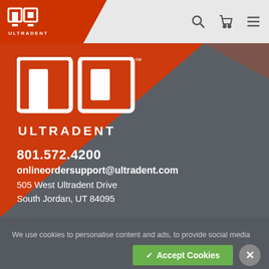[Figure (logo): Ultradent logo in navigation bar, white on red/orange background with diagonal cut]
[Figure (logo): Large Ultradent logo on hero section with orange and gray diagonal background]
801.572.4200
onlineordersupport@ultradent.com
505 West Ultradent Drive
South Jordan, UT 84095
We use cookies to personalise content and ads, to provide social media features and to analyse our traffic. We also share information about your use of our site with our social media, advertising and analytics partners.